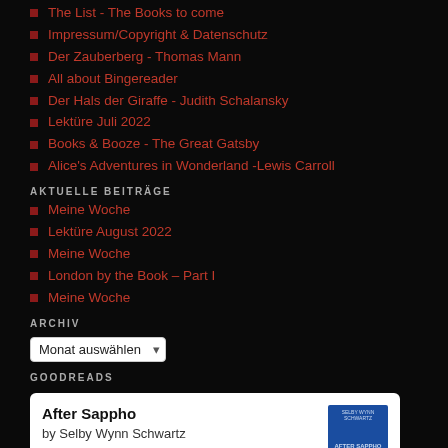The List - The Books to come
Impressum/Copyright & Datenschutz
Der Zauberberg - Thomas Mann
All about Bingereader
Der Hals der Giraffe - Judith Schalansky
Lektüre Juli 2022
Books & Booze - The Great Gatsby
Alice's Adventures in Wonderland -Lewis Carroll
AKTUELLE BEITRÄGE
Meine Woche
Lektüre August 2022
Meine Woche
London by the Book – Part I
Meine Woche
ARCHIV
Monat auswählen
GOODREADS
After Sappho by Selby Wynn Schwartz